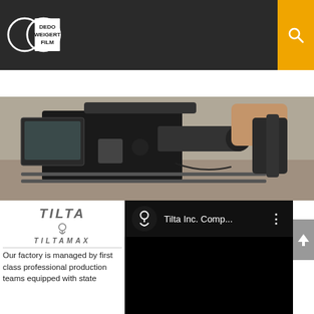[Figure (logo): Dedo Weigert Film logo with two overlapping circles and text DEDO WEIGERT FILM on dark background header]
NAVIGATION
[Figure (photo): Hero banner photo of a professional film camera rig being held by a person outdoors]
[Figure (logo): TILTA brand logo and TILTAMAX sub-brand logo]
Our factory is managed by first class professional production teams equipped with state
[Figure (screenshot): YouTube video embed showing Tilta Inc. Comp... channel with white Tilta logo icon on black background]